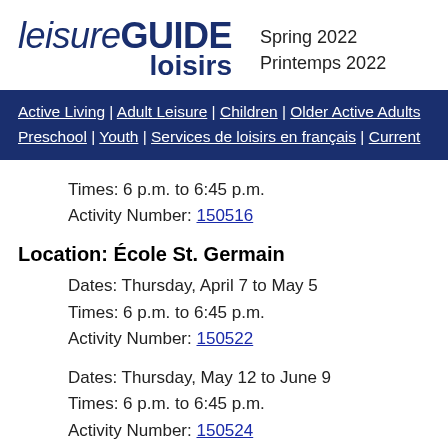leisureGUIDE loisirs  Spring 2022 Printemps 2022
Active Living | Adult Leisure | Children | Older Active Adults | Preschool | Youth | Services de loisirs en français | Current
Times: 6 p.m. to 6:45 p.m.
Activity Number: 150516
Location: École St. Germain
Dates: Thursday, April 7 to May 5
Times: 6 p.m. to 6:45 p.m.
Activity Number: 150522
Dates: Thursday, May 12 to June 9
Times: 6 p.m. to 6:45 p.m.
Activity Number: 150524